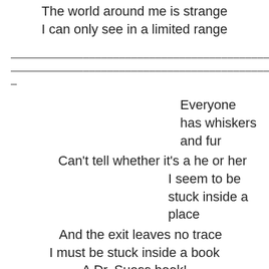The world around me is strange
I can only see in a limited range
—————————————————————————————————————————————————————————————————
Everyone has whiskers and fur
Can't tell whether it's a he or her
I seem to be stuck inside a place
And the exit leaves no trace
I must be stuck inside a book
A Dr. Suess book!